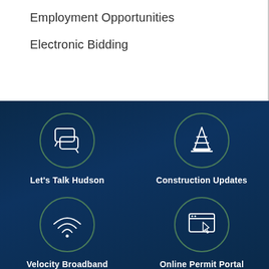Employment Opportunities
Electronic Bidding
[Figure (infographic): Dark navy blue section with four circular icon buttons arranged in a 2x2 grid. Top-left: speech bubbles icon labeled 'Let's Talk Hudson'. Top-right: traffic cone icon labeled 'Construction Updates'. Bottom-left: wifi icon labeled 'Velocity Broadband'. Bottom-right: cursor/monitor icon labeled 'Online Permit Portal'.]
Let's Talk Hudson
Construction Updates
Velocity Broadband
Online Permit Portal